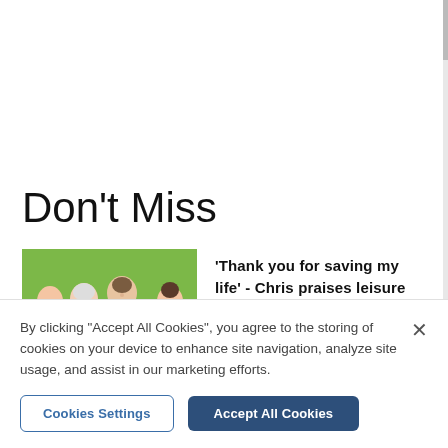Don't Miss
[Figure (photo): Group of four people standing in front of a green wall; one person holds yellow sunflowers.]
'Thank you for saving my life' - Chris praises leisure centre staff
By clicking "Accept All Cookies", you agree to the storing of cookies on your device to enhance site navigation, analyze site usage, and assist in our marketing efforts.
Cookies Settings
Accept All Cookies